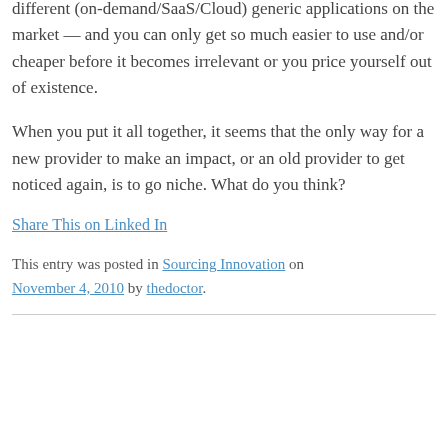different (on-demand/SaaS/Cloud) generic applications on the market — and you can only get so much easier to use and/or cheaper before it becomes irrelevant or you price yourself out of existence.
When you put it all together, it seems that the only way for a new provider to make an impact, or an old provider to get noticed again, is to go niche. What do you think?
Share This on Linked In
This entry was posted in Sourcing Innovation on November 4, 2010 by thedoctor.